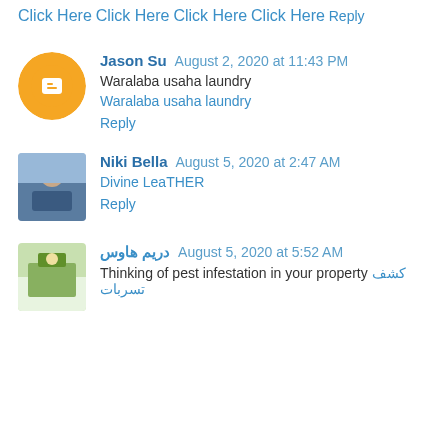Click Here
Click Here
Click Here
Click Here
Reply
Jason Su  August 2, 2020 at 11:43 PM
Waralaba usaha laundry
Waralaba usaha laundry
Reply
Niki Bella  August 5, 2020 at 2:47 AM
Divine LeaTHER
Reply
دريم هاوس  August 5, 2020 at 5:52 AM
Thinking of pest infestation in your property كشف تسربات